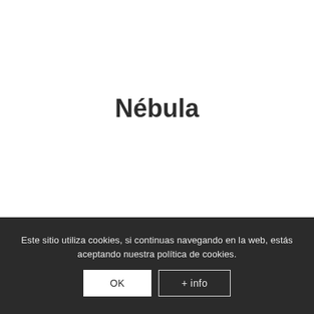Nébula
Este sitio utiliza cookies, si continuas navegando en la web, estás aceptando nuestra política de cookies.
OK
+ info